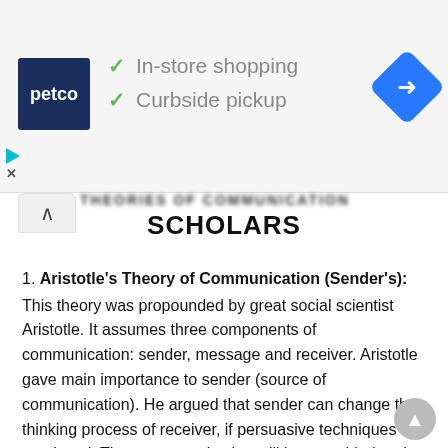[Figure (screenshot): Petco advertisement banner showing Petco logo, checkmarks for 'In-store shopping' and 'Curbside pickup', and a blue navigation diamond icon]
SCHOLARS
1. Aristotle's Theory of Communication (Sender's): This theory was propounded by great social scientist Aristotle. It assumes three components of communication: sender, message and receiver. Aristotle gave main importance to sender (source of communication). He argued that sender can change the thinking process of receiver, if persuasive techniques are employed. Then, communication will be one sided and sender will be of vital importance.
2. Lasswell's Theory of Communication (Channel Theory): This theory was propounded by Lasswell. It is